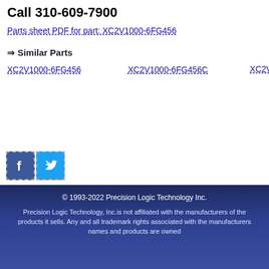Call 310-609-7900
Parts sheet PDF for part: XC2V1000-6FG456
⇒ Similar Parts
XC2V1000-6FG456
XC2V1000-6FG456C
XC2V1000-6...
[Figure (logo): Facebook icon square blue]
[Figure (logo): Twitter icon square light blue]
© 1993-2022 Precision Logic Technology Inc. Precision Logic Technology, Inc.is not affiliated with the manufacturers of the products it sells. Any and all trademark rights associated with the manufacturers names and products are owned